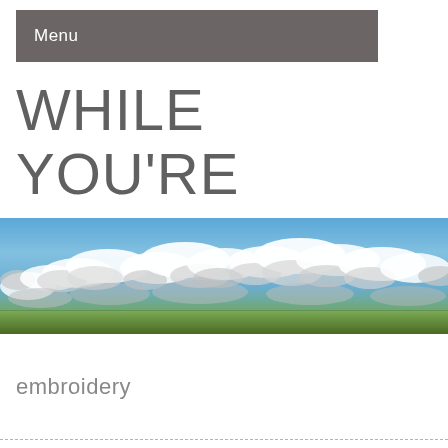Menu
WHILE YOU'RE AHEAD...
[Figure (photo): Wide panoramic landscape photo showing a large open field with green grass under a broad blue sky filled with many white and grey clouds scattered across the horizon.]
embroidery